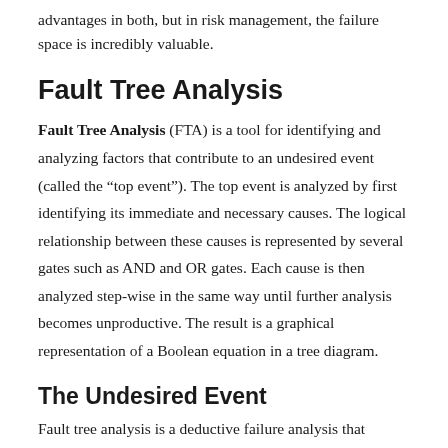advantages in both, but in risk management, the failure space is incredibly valuable.
Fault Tree Analysis
Fault Tree Analysis (FTA) is a tool for identifying and analyzing factors that contribute to an undesired event (called the “top event”). The top event is analyzed by first identifying its immediate and necessary causes. The logical relationship between these causes is represented by several gates such as AND and OR gates. Each cause is then analyzed step-wise in the same way until further analysis becomes unproductive. The result is a graphical representation of a Boolean equation in a tree diagram.
The Undesired Event
Fault tree analysis is a deductive failure analysis that